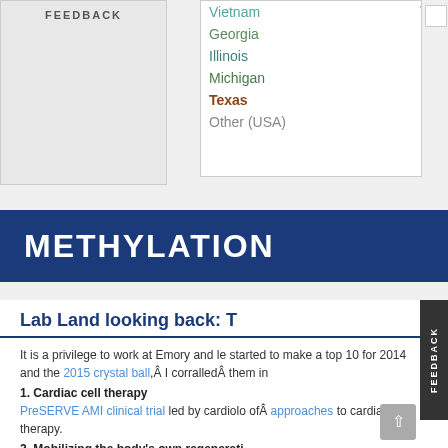FEEDBACK
[Figure (screenshot): Dropdown list showing locations: Vietnam, Georgia, Illinois, Michigan, Texas, Other (USA) with a diagonal line and small checkbox]
METHYLATION
Lab Land looking back: T...
It is a privilege to work at Emory and le... started to make a top 10 for 2014 and the 2015 crystal ball, I corralled them in...
1. Cardiac cell therapy
PreSERVE AMI clinical trial led by cardiolo... of approaches to cardiac cell therapy.
2. Mobilizing the body's own regenerati...
Ahsan Husain's work on how young hearts...